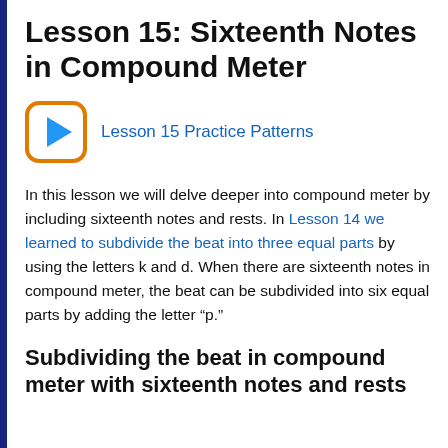Lesson 15: Sixteenth Notes in Compound Meter
[Figure (illustration): Orange rounded-rectangle play button icon with blue triangle pointing right]
Lesson 15 Practice Patterns
In this lesson we will delve deeper into compound meter by including sixteenth notes and rests. In Lesson 14 we learned to subdivide the beat into three equal parts by using the letters k and d. When there are sixteenth notes in compound meter, the beat can be subdivided into six equal parts by adding the letter “p.”
Subdividing the beat in compound meter with sixteenth notes and rests